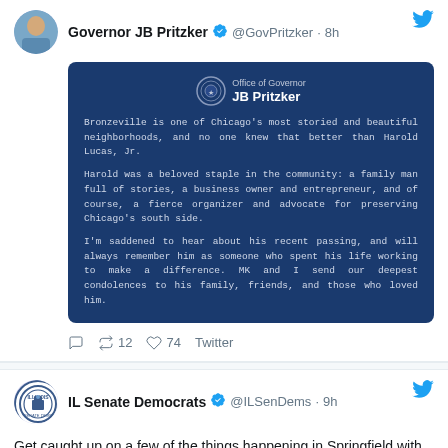[Figure (screenshot): Twitter/social media screenshot showing two tweets. First tweet from Governor JB Pritzker (@GovPritzker, 8h ago) with an embedded image card from the Office of Governor JB Pritzker about Harold Lucas Jr., with condolences. Second tweet from IL Senate Democrats (@ILSenDems, 9h ago) about a News Brief podcast episode about Springfield happenings with a listen link.]
Governor JB Pritzker @GovPritzker · 8h
Bronzeville is one of Chicago's most storied and beautiful neighborhoods, and no one knew that better than Harold Lucas, Jr. Harold was a beloved staple in the community: a family man full of stories, a business owner and entrepreneur, and of course, a fierce organizer and advocate for preserving Chicago's south side. I'm saddened to hear about his recent passing, and will always remember him as someone who spent his life working to make a difference. MK and I send our deepest condolences to his family, friends, and those who loved him.
↺ 12  ♡ 74  Twitter
IL Senate Democrats @ILSenDems · 9h
Get caught up on a few of the things happening in Springfield with this edition of the News Brief, part of our Sound of the State podcast series.
LISTEN: https://ilsendems.co/3wg1PPg